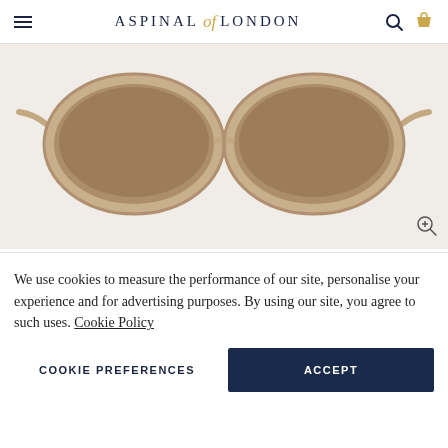Aspinal of London
[Figure (photo): Close-up product photo of brown/taupe cat-eye sunglasses on light beige background]
[Figure (photo): Four thumbnail images of sunglasses: front view (active/selected with gold border), side angle view, temple/arm view, and model wearing dark sunglasses]
Cherry Blossom Acetate
We use cookies to measure the performance of our site, personalise your experience and for advertising purposes. By using our site, you agree to such uses. Cookie Policy
COOKIE PREFERENCES
ACCEPT